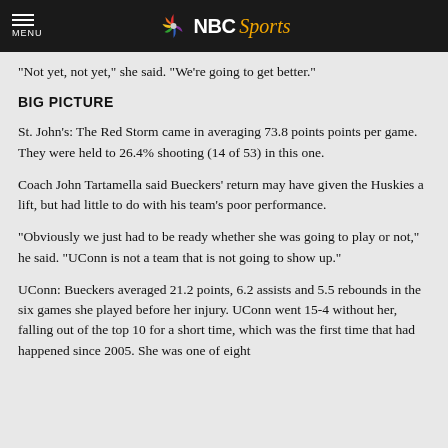NBC Sports
"Not yet, not yet," she said. "We're going to get better."
BIG PICTURE
St. John's: The Red Storm came in averaging 73.8 points points per game. They were held to 26.4% shooting (14 of 53) in this one.
Coach John Tartamella said Bueckers' return may have given the Huskies a lift, but had little to do with his team's poor performance.
"Obviously we just had to be ready whether she was going to play or not," he said. "UConn is not a team that is not going to show up."
UConn: Bueckers averaged 21.2 points, 6.2 assists and 5.5 rebounds in the six games she played before her injury. UConn went 15-4 without her, falling out of the top 10 for a short time, which was the first time that had happened since 2005. She was one of eight